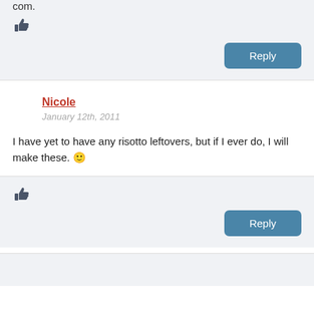com.
[Figure (illustration): Thumbs up icon]
Reply
Nicole
January 12th, 2011
I have yet to have any risotto leftovers, but if I ever do, I will make these. 🙂
[Figure (illustration): Thumbs up icon]
Reply